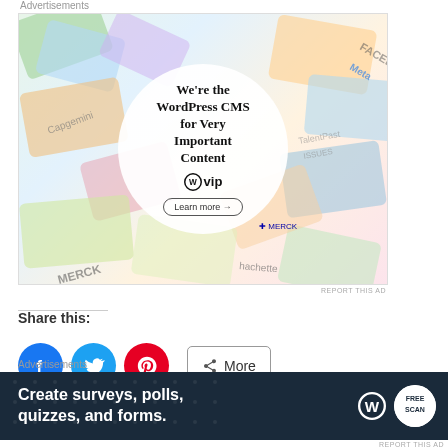[Figure (advertisement): WordPress VIP advertisement banner showing colorful company logos in background with white circle overlay reading 'We're the WordPress CMS for Very Important Content' with WP VIP logo and 'Learn more' button]
Share this:
[Figure (infographic): Social share buttons: Facebook (blue circle), Twitter (blue circle), Pinterest (red circle), and a More button]
[Figure (advertisement): Dark navy banner advertisement: 'Create surveys, polls, quizzes, and forms.' with WordPress and survey logo icons]